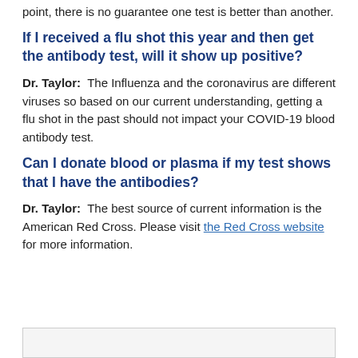point, there is no guarantee one test is better than another.
If I received a flu shot this year and then get the antibody test, will it show up positive?
Dr. Taylor: The Influenza and the coronavirus are different viruses so based on our current understanding, getting a flu shot in the past should not impact your COVID-19 blood antibody test.
Can I donate blood or plasma if my test shows that I have the antibodies?
Dr. Taylor: The best source of current information is the American Red Cross. Please visit the Red Cross website for more information.
[Figure (other): Light gray box at the bottom of the page]